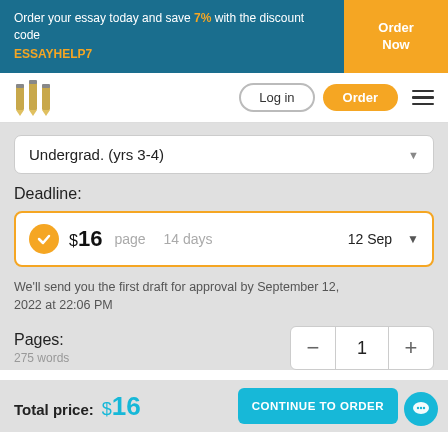Order your essay today and save 7% with the discount code ESSAYHELP7
Log in
Order
Undergrad. (yrs 3-4)
Deadline:
$16 page 14 days 12 Sep
We'll send you the first draft for approval by September 12, 2022 at 22:06 PM
Pages:
275 words
1
Total price: $16
CONTINUE TO ORDER